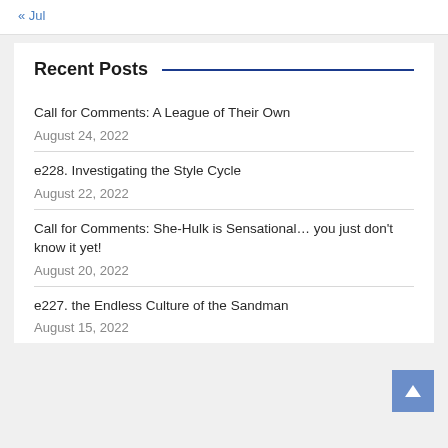« Jul
Recent Posts
Call for Comments: A League of Their Own
August 24, 2022
e228. Investigating the Style Cycle
August 22, 2022
Call for Comments: She-Hulk is Sensational… you just don't know it yet!
August 20, 2022
e227. the Endless Culture of the Sandman
August 15, 2022